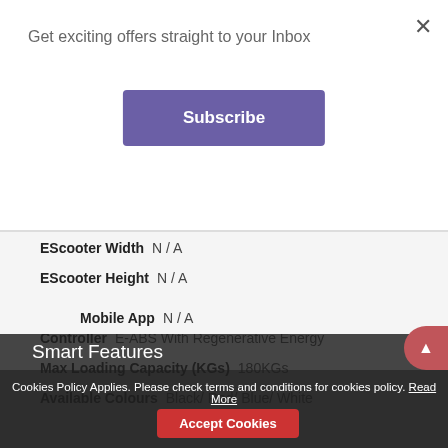Get exciting offers straight to your Inbox
Subscribe
| Property | Value |
| --- | --- |
| EScooter Width | N / A |
| EScooter Height | N / A |
| Kerb Weight (KGs) | N / A |
| Controller | E-ABS With Regenerative Energy |
| Max Loading Capacity (KGs) | 180KGs |
| Available Colours | Black/ Red/ Blue/ White |
| Mobile App | N / A |
Smart Features
Cookies Policy Applies. Please check terms and conditions for cookies policy. Read More
Accept Cookies